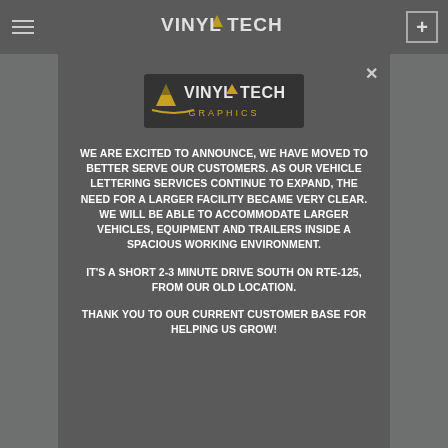VinylTech (top navigation bar with logo and menu)
[Figure (logo): VinylTech Graphics logo — stylized text with checkered flag graphic]
WE ARE EXCITED TO ANNOUNCE, WE HAVE MOVED TO BETTER SERVE OUR CUSTOMERS. AS OUR VEHICLE LETTERING SERVICES CONTINUE TO EXPAND, THE NEED FOR A LARGER FACILITY BECAME VERY CLEAR. WE WILL BE ABLE TO ACCOMMODATE LARGER VEHICLES, EQUIPMENT AND TRAILERS INSIDE A SPACIOUS WORKING ENVIRONMENT.
IT'S A SHORT 2-3 MINUTE DRIVE SOUTH ON RTE-125, FROM OUR OLD LOCATION.
THANK YOU TO OUR CURRENT CUSTOMER BASE FOR HELPING US GROW!